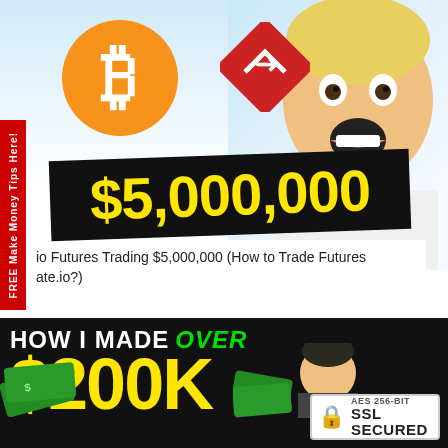[Figure (screenshot): Social media or website screenshot showing Bitcoin logo, exchange logo, person with shocked expression, black banner with '$5,000,000' in yellow text, and article snippet about futures trading]
io Futures Trading $5,000,000 (How to Trade Futures ate.io?)
[Figure (infographic): Dark banner with text 'HOW I MADE OVER $200[K]' in white and yellow, with green 'OVER', plus SSL SECURED badge and person with money bills]
FREE Make Money Tips Here!
AES 256-BIT SSL SECURED